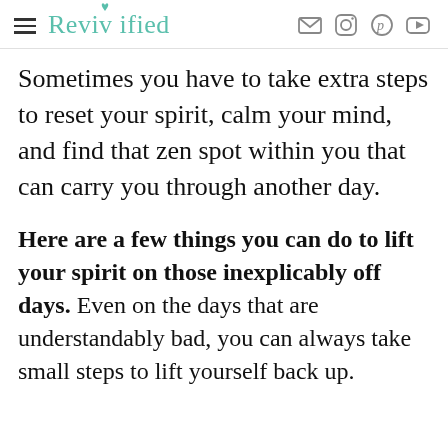Revivified
Sometimes you have to take extra steps to reset your spirit, calm your mind, and find that zen spot within you that can carry you through another day.
Here are a few things you can do to lift your spirit on those inexplicably off days. Even on the days that are understandably bad, you can always take small steps to lift yourself back up.